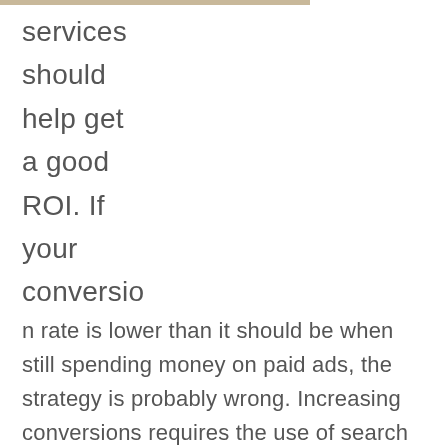services should help get a good ROI. If your conversion rate is lower than it should be when still spending money on paid ads, the strategy is probably wrong. Increasing conversions requires the use of search and display for the same keywords, bidding on the right keywords at the right times, and many other techniques essential for bringing in conversions.